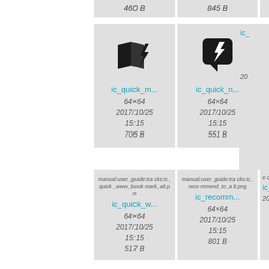[Figure (screenshot): File browser grid showing icon thumbnails with metadata. Top partial row shows two cells with file sizes 460 B and 845 B. Second row shows ic_quick_m... (64x64, 2017/10/25 15:15, 706 B), ic_quick_n... (64x64, 2017/10/25 15:15, 551 B), and a partial third cell. Third row shows ic_quick_w... (64x64, 2017/10/25 15:15, 517 B), ic_recomm... (64x64, 2017/10/25 15:15, 801 B), and a partial third cell.]